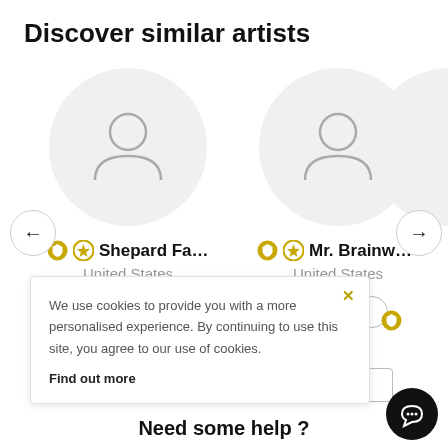Discover similar artists
[Figure (screenshot): Artist card for Shepard Fairey with generic avatar circle, badge icons, United States location, and Follow button]
[Figure (screenshot): Artist card for Mr. Brainwash with generic avatar circle, badge icons, United States location, and Follow button]
[Figure (screenshot): Partial third artist card partially visible on right edge]
We use cookies to provide you with a more personalised experience. By continuing to use this site, you agree to our use of cookies. Find out more
Need some help ?